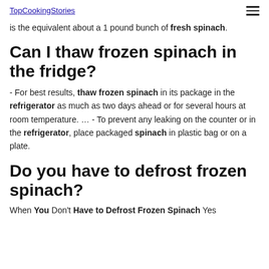TopCookingStories
is the equivalent about a 1 pound bunch of fresh spinach.
Can I thaw frozen spinach in the fridge?
- For best results, thaw frozen spinach in its package in the refrigerator as much as two days ahead or for several hours at room temperature. … - To prevent any leaking on the counter or in the refrigerator, place packaged spinach in plastic bag or on a plate.
Do you have to defrost frozen spinach?
When You Don't Have to Defrost Frozen Spinach Yes